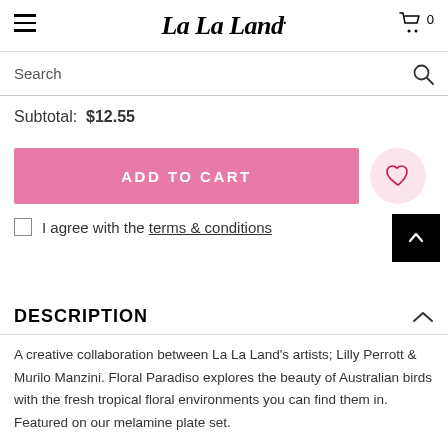La La Land
Search
Subtotal: $12.55
ADD TO CART
I agree with the terms & conditions
DESCRIPTION
A creative collaboration between La La Land's artists; Lilly Perrott & Murilo Manzini. Floral Paradiso explores the beauty of Australian birds with the fresh tropical floral environments you can find them in. Featured on our melamine plate set.